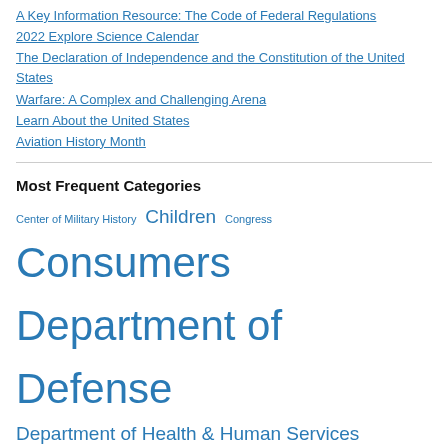A Key Information Resource: The Code of Federal Regulations
2022 Explore Science Calendar
The Declaration of Independence and the Constitution of the United States
Warfare: A Complex and Challenging Arena
Learn About the United States
Aviation History Month
Most Frequent Categories
Center of Military History Children Congress Consumers Department of Defense Department of Health & Human Services Department of the Interior ebooks Family Government Printing Office (GPO) Health care Libraries Military History NASA National Park Service Travel and Tourism U.S. Army U.S. History U.S.